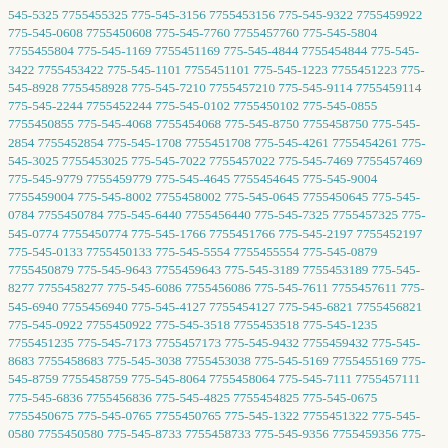545-5325 7755455325 775-545-3156 7755453156 775-545-9322 7755459922 775-545-0608 7755450608 775-545-7760 7755457760 775-545-5804 7755455804 775-545-1169 7755451169 775-545-4844 7755454844 775-545-3422 7755453422 775-545-1101 7755451101 775-545-1223 7755451223 775-545-8928 7755458928 775-545-7210 7755457210 775-545-9114 7755459114 775-545-2244 7755452244 775-545-0102 7755450102 775-545-0855 7755450855 775-545-4068 7755454068 775-545-8750 7755458750 775-545-2854 7755452854 775-545-1708 7755451708 775-545-4261 7755454261 775-545-3025 7755453025 775-545-7022 7755457022 775-545-7469 7755457469 775-545-9779 7755459779 775-545-4645 7755454645 775-545-9004 7755459004 775-545-8002 7755458002 775-545-0645 7755450645 775-545-0784 7755450784 775-545-6440 7755456440 775-545-7325 7755457325 775-545-0774 7755450774 775-545-1766 7755451766 775-545-2197 7755452197 775-545-0133 7755450133 775-545-5554 7755455554 775-545-0879 7755450879 775-545-9643 7755459643 775-545-3189 7755453189 775-545-8277 7755458277 775-545-6086 7755456086 775-545-7611 7755457611 775-545-6940 7755456940 775-545-4127 7755454127 775-545-6821 7755456821 775-545-0922 7755450922 775-545-3518 7755453518 775-545-1235 7755451235 775-545-7173 7755457173 775-545-9432 7755459432 775-545-8683 7755458683 775-545-3038 7755453038 775-545-5169 7755455169 775-545-8759 7755458759 775-545-8064 7755458064 775-545-7111 7755457111 775-545-6836 7755456836 775-545-4825 7755454825 775-545-0675 7755450675 775-545-0765 7755450765 775-545-1322 7755451322 775-545-0580 7755450580 775-545-8733 7755458733 775-545-9356 7755459356 775-545-4493 7755454493 775-545-4646